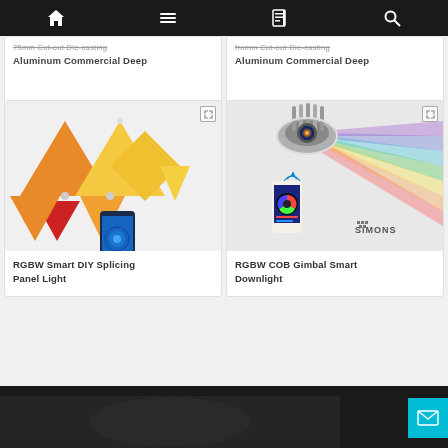Navigation bar with home, menu, account, and search icons
75mm Cut-out Die-casting Aluminum Commercial Deep
fromm Cut-out Die-casting Aluminum Commercial Deep
[Figure (photo): RGBW Smart DIY Splicing Panel Light product image showing colorful triangular LED panels (orange, red, yellow) with a smartphone showing a control app]
RGBW Smart DIY Splicing Panel Light
[Figure (photo): RGBW COB Gimbal Smart Downlight product image showing a white LED spotlight casting a rainbow spectrum beam, with a smartphone app and Simons logo]
RGBW COB Gimbal Smart Downlight
[Figure (photo): Partial bottom image showing a dark product, partially visible]